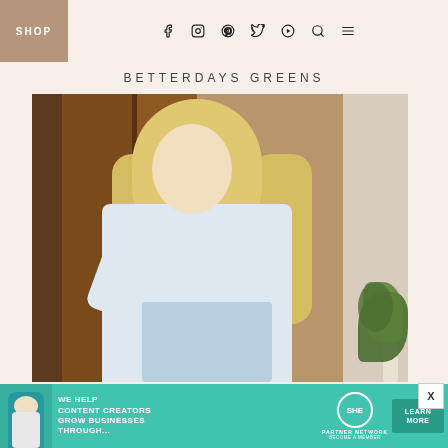SHOP
BETTERDAYS GREENS
[Figure (photo): Blonde woman in a white blouse holding a blue tote bag, standing at a wooden door, with a plant visible to the right]
[Figure (infographic): Advertisement banner: WE HELP CONTENT CREATORS GROW BUSINESSES THROUGH... SHE PARTNER NETWORK BECOME A MEMBER — LEARN MORE]